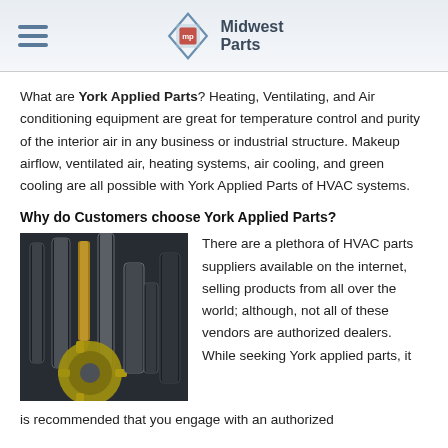Midwest Parts
What are York Applied Parts? Heating, Ventilating, and Air conditioning equipment are great for temperature control and purity of the interior air in any business or industrial structure. Makeup airflow, ventilated air, heating systems, air cooling, and green cooling are all possible with York Applied Parts of HVAC systems.
Why do Customers choose York Applied Parts?
[Figure (photo): Close-up photo of industrial HVAC parts and machining tools including drill bits and a milling cutter head on a workbench.]
There are a plethora of HVAC parts suppliers available on the internet, selling products from all over the world; although, not all of these vendors are authorized dealers. While seeking York applied parts, it is recommended that you engage with an authorized